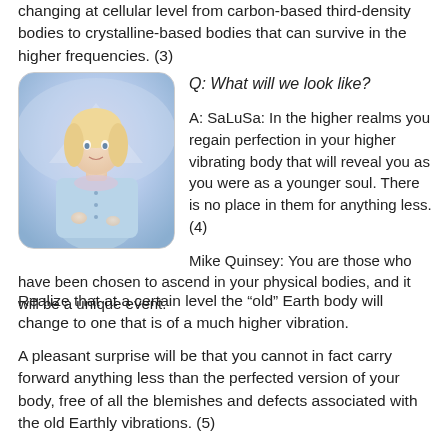changing at cellular level from carbon-based third-density bodies to crystalline-based bodies that can survive in the higher frequencies. (3)
[Figure (illustration): A painted illustration of a blonde woman in a light blue outfit with a soft purple/blue mountain background, rounded rectangle frame.]
Q: What will we look like?
A: SaLuSa: In the higher realms you regain perfection in your higher vibrating body that will reveal you as you were as a younger soul. There is no place in them for anything less. (4)
Mike Quinsey: You are those who have been chosen to ascend in your physical bodies, and it will be a unique event. Realize that at a certain level the “old” Earth body will change to one that is of a much higher vibration.
A pleasant surprise will be that you cannot in fact carry forward anything less than the perfected version of your body, free of all the blemishes and defects associated with the old Earthly vibrations. (5)